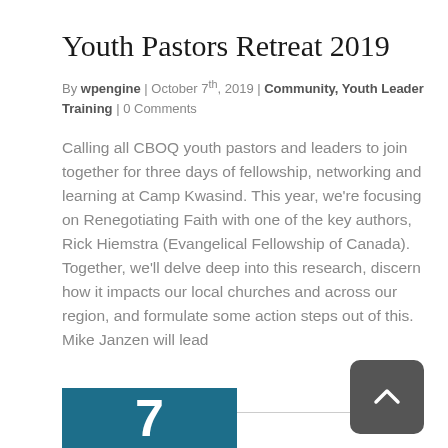Youth Pastors Retreat 2019
By wpengine | October 7th, 2019 | Community, Youth Leader Training | 0 Comments
Calling all CBOQ youth pastors and leaders to join together for three days of fellowship, networking and learning at Camp Kwasind. This year, we're focusing on Renegotiating Faith with one of the key authors, Rick Hiemstra (Evangelical Fellowship of Canada). Together, we'll delve deep into this research, discern how it impacts our local churches and across our region, and formulate some action steps out of this. Mike Janzen will lead
Read More
[Figure (other): Blue square calendar date tile showing the number 7]
[Figure (other): Dark gray rounded rectangle back-to-top button with upward chevron arrow]